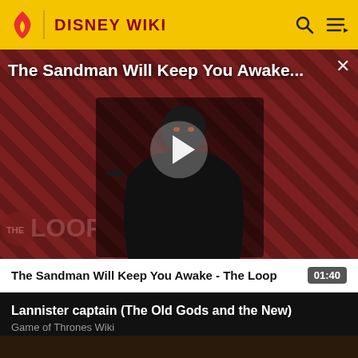DISNEY WIKI
[Figure (screenshot): Video player showing a dark-themed promotional video. A man in black stands against a red and black diagonal striped background. A raven perches on his arm. 'THE LOOP' watermark appears bottom left. A white play button triangle is centered. Title overlay reads 'The Sandman Will Keep You Awake...' with a close X button top right.]
The Sandman Will Keep You Awake - The Loop
01:40
Lannister captain (The Old Gods and the New)
Game of Thrones Wiki